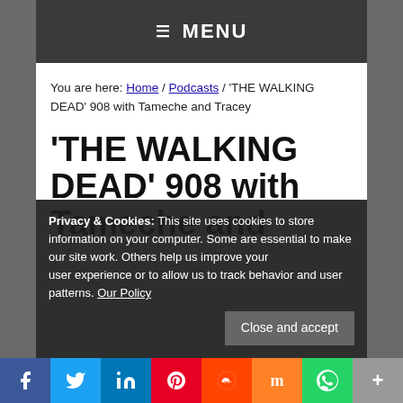≡ MENU
You are here: Home / Podcasts / 'THE WALKING DEAD' 908 with Tameche and Tracey
'THE WALKING DEAD' 908 with Tameche and
Privacy & Cookies: This site uses cookies to store information on your computer. Some are essential to make our site work. Others help us improve your user experience or to allow us to track behavior and user patterns. Our Policy
Close and accept